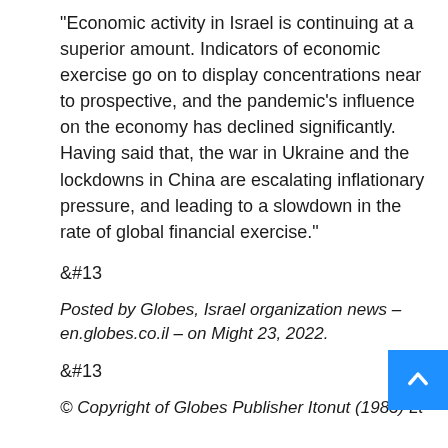“Economic activity in Israel is continuing at a superior amount. Indicators of economic exercise go on to display concentrations near to prospective, and the pandemic’s influence on the economy has declined significantly. Having said that, the war in Ukraine and the lockdowns in China are escalating inflationary pressure, and leading to a slowdown in the rate of global financial exercise.”
&#13
Posted by Globes, Israel organization news – en.globes.co.il – on Might 23, 2022.
&#13
© Copyright of Globes Publisher Itonut (1983) Lt. 2022